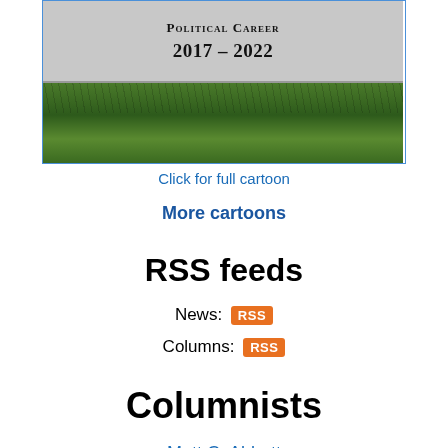[Figure (illustration): Political cartoon showing a gravestone-like monument with text 'POLITICAL CAREER 2017 - 2022' above a grass/ground base, rendered in greyscale stone texture]
Click for full cartoon
More cartoons
RSS feeds
News: RSS
Columns: RSS
Columnists
Matt C. Abbott
Chris Adamo
Ronald Abr...